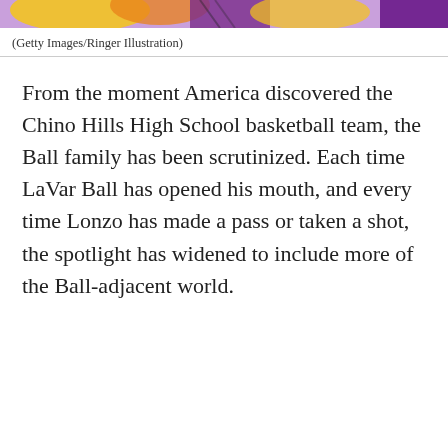[Figure (photo): Top banner image showing colorful illustration with purple, yellow and orange colors, partially cropped at top of page]
(Getty Images/Ringer Illustration)
From the moment America discovered the Chino Hills High School basketball team, the Ball family has been scrutinized. Each time LaVar Ball has opened his mouth, and every time Lonzo has made a pass or taken a shot, the spotlight has widened to include more of the Ball-adjacent world.